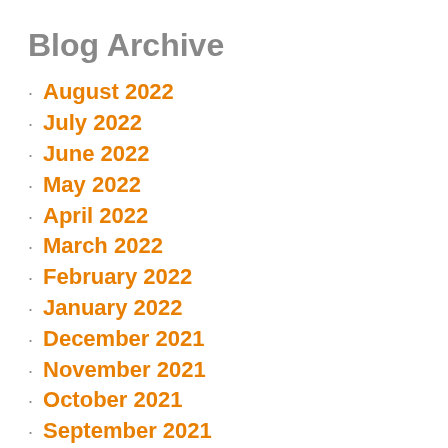Blog Archive
August 2022
July 2022
June 2022
May 2022
April 2022
March 2022
February 2022
January 2022
December 2021
November 2021
October 2021
September 2021
August 2021